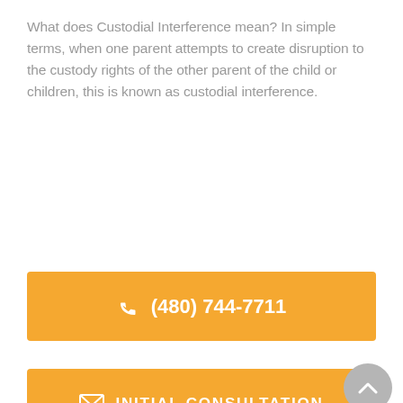What does Custodial Interference mean? In simple terms, when one parent attempts to create disruption to the custody rights of the other parent of the child or children, this is known as custodial interference.
[Figure (other): Orange call-to-action button with phone icon and phone number (480) 744-7711]
[Figure (other): Orange call-to-action button with envelope icon and text INITIAL CONSULTATION]
Often a highly contentious issue, when custody orders are interfered with it can lead in some cases to